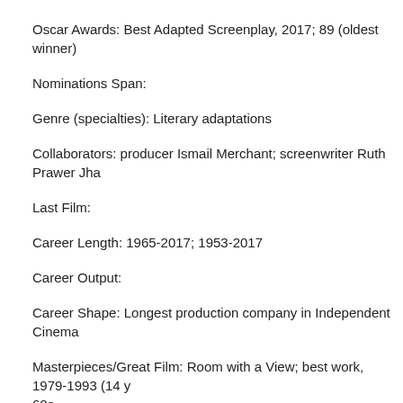Oscar Awards: Best Adapted Screenplay, 2017; 89 (oldest winner)
Nominations Span:
Genre (specialties): Literary adaptations
Collaborators: producer Ismail Merchant; screenwriter Ruth Prawer Jha
Last Film:
Career Length: 1965-2017; 1953-2017
Career Output:
Career Shape: Longest production company in Independent Cinema
Masterpieces/Great Film: Room with a View; best work, 1979-1993 (14 y 60s
Marriage:  Gay
Politics: